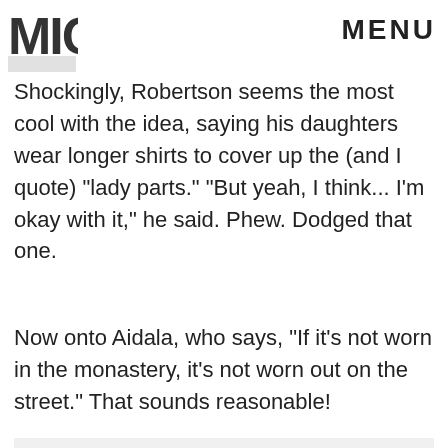MIC | MENU
Shockingly, Robertson seems the most cool with the idea, saying his daughters wear longer shirts to cover up the (and I quote) "lady parts." "But yeah, I think... I'm okay with it," he said. Phew. Dodged that one.
Now onto Aidala, who says, "If it's not worn in the monastery, it's not worn out on the street." That sounds reasonable!
[Figure (other): Light gray image/content area at the bottom of the page]